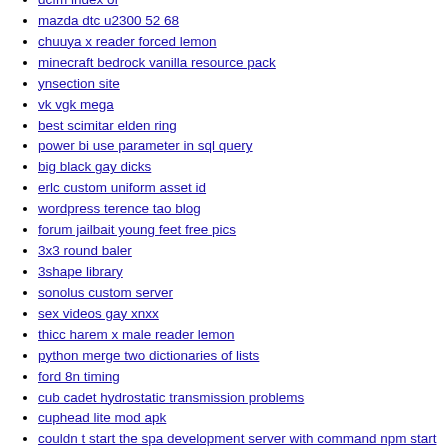dcfm index of
mazda dtc u2300 52 68
chuuya x reader forced lemon
minecraft bedrock vanilla resource pack
ynsection site
vk vgk mega
best scimitar elden ring
power bi use parameter in sql query
big black gay dicks
erlc custom uniform asset id
wordpress terence tao blog
forum jailbait young feet free pics
3x3 round baler
3shape library
sonolus custom server
sex videos gay xnxx
thicc harem x male reader lemon
python merge two dictionaries of lists
ford 8n timing
cub cadet hydrostatic transmission problems
cuphead lite mod apk
couldn t start the spa development server with command npm start
8086 assembly language pdf
how to use vseeface on obs
discord bot change username block